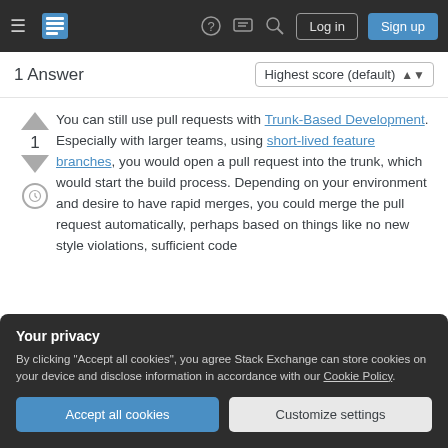Stack Exchange navigation bar with hamburger menu, logo, help, chat, search icons, Log in and Sign up buttons
1 Answer
You can still use pull requests with Trunk-Based Development. Especially with larger teams, using short-lived feature branches, you would open a pull request into the trunk, which would start the build process. Depending on your environment and desire to have rapid merges, you could merge the pull request automatically, perhaps based on things like no new style violations, sufficient code
Your privacy
By clicking "Accept all cookies", you agree Stack Exchange can store cookies on your device and disclose information in accordance with our Cookie Policy.
Accept all cookies  Customize settings